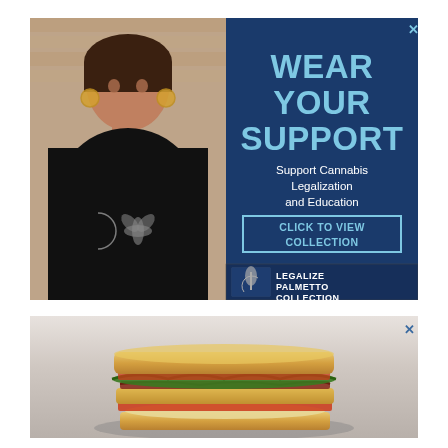[Figure (illustration): Advertisement banner with a woman wearing a black t-shirt with cannabis and moon design on the left, and on the right a dark blue panel with text 'WEAR YOUR SUPPORT', 'Support Cannabis Legalization and Education', a 'CLICK TO VIEW COLLECTION' button, and 'LEGALIZE PALMETTO COLLECTION' logo at the bottom.]
[Figure (photo): Advertisement banner showing a large stacked sandwich (BLT/club sandwich) on a plate against a neutral background.]